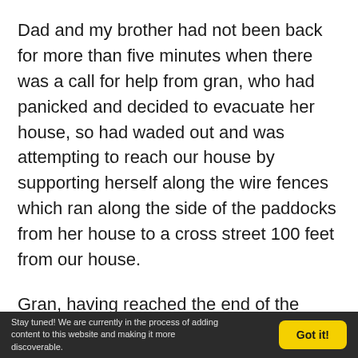Dad and my brother had not been back for more than five minutes when there was a call for help from gran, who had panicked and decided to evacuate her house, so had waded out and was attempting to reach our house by supporting herself along the wire fences which ran along the side of the paddocks from her house to a cross street 100 feet from our house.
Gran, having reached the end of the fence at this cross street and finding no more fence
Stay tuned! We are currently in the process of adding content to this website and making it more discoverable.